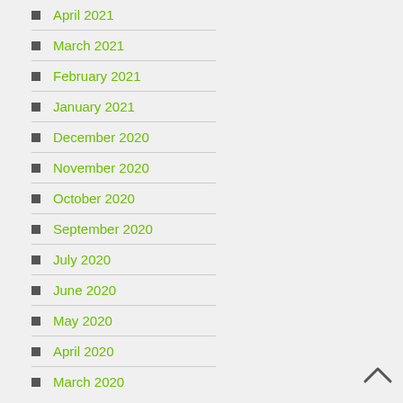April 2021
March 2021
February 2021
January 2021
December 2020
November 2020
October 2020
September 2020
July 2020
June 2020
May 2020
April 2020
March 2020